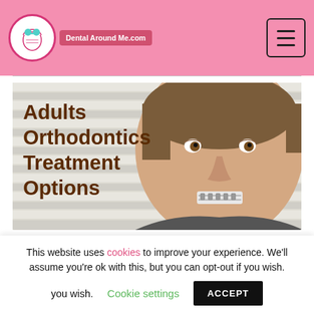DentalAroundMe.com
[Figure (photo): Hero image showing an adult male smiling with dental braces, with window blinds in the background. Bold brown text overlay reads 'Adults Orthodontics Treatment Options'.]
This website uses cookies to improve your experience. We'll assume you're ok with this, but you can opt-out if you wish. Cookie settings ACCEPT